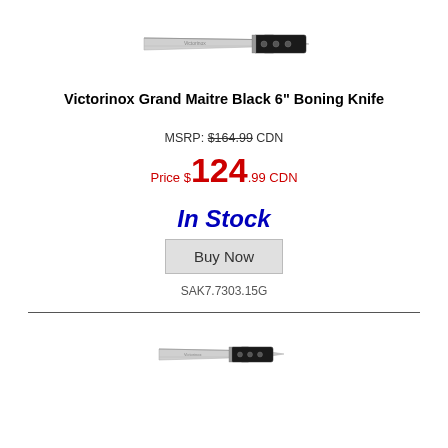[Figure (photo): Victorinox Grand Maitre Black 6 inch Boning Knife product photo, top listing]
Victorinox Grand Maitre Black 6" Boning Knife
MSRP: $164.99 CDN
Price $124.99 CDN
In Stock
Buy Now
SAK7.7303.15G
[Figure (photo): Victorinox knife product photo, second listing below divider]